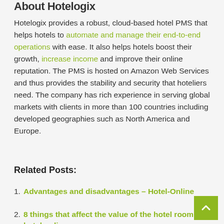About Hotelogix
Hotelogix provides a robust, cloud-based hotel PMS that helps hotels to automate and manage their end-to-end operations with ease. It also helps hotels boost their growth, increase income and improve their online reputation. The PMS is hosted on Amazon Web Services and thus provides the stability and security that hoteliers need. The company has rich experience in serving global markets with clients in more than 100 countries including developed geographies such as North America and Europe.
Related Posts:
1. Advantages and disadvantages – Hotel-Online
2. 8 things that affect the value of the hotel room – hotel-online